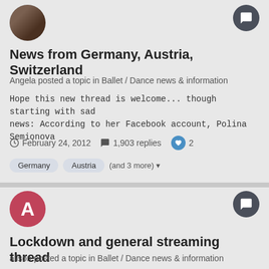[Figure (photo): User avatar photo of a person/animal, circular crop]
News from Germany, Austria, Switzerland
Angela posted a topic in Ballet / Dance news & information
Hope this new thread is welcome... though starting with sad news: According to her Facebook account, Polina Semionova
February 24, 2012   1,903 replies   2
Germany   Austria   (and 3 more)
[Figure (illustration): User avatar with letter A on pink/red circle]
Lockdown and general streaming thread
alison posted a topic in Ballet / Dance news & information
I had intended to get this up straightaway once the new anti-coronavirus measures were announced, but life has got in the
March 16, 2020   1,212 replies   1